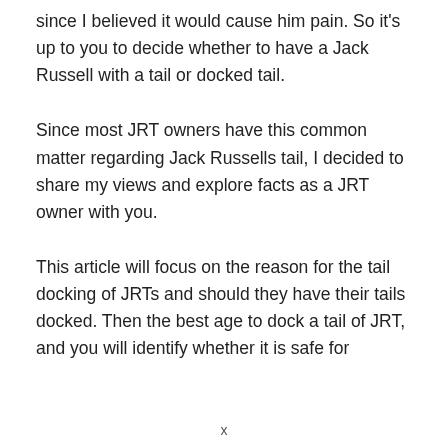since I believed it would cause him pain. So it's up to you to decide whether to have a Jack Russell with a tail or docked tail.
Since most JRT owners have this common matter regarding Jack Russells tail, I decided to share my views and explore facts as a JRT owner with you.
This article will focus on the reason for the tail docking of JRTs and should they have their tails docked. Then the best age to dock a tail of JRT, and you will identify whether it is safe for
x